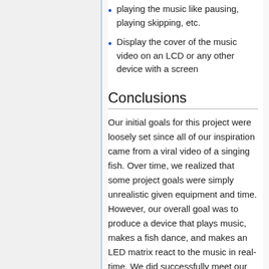playing the music like pausing, playing skipping, etc.
Display the cover of the music video on an LCD or any other device with a screen
Conclusions
Our initial goals for this project were loosely set since all of our inspiration came from a viral video of a singing fish. Over time, we realized that some project goals were simply unrealistic given equipment and time. However, our overall goal was to produce a device that plays music, makes a fish dance, and makes an LED matrix react to the music in real-time. We did successfully meet our goals, but there is still some room for improvement. As mentioned in the future